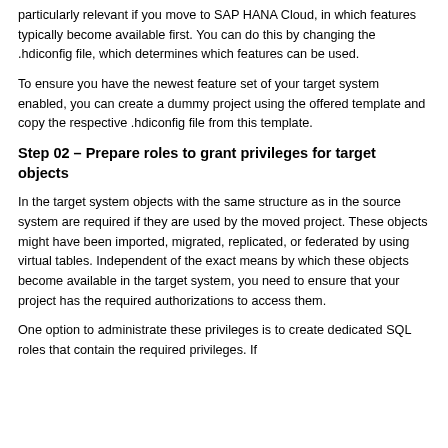particularly relevant if you move to SAP HANA Cloud, in which features typically become available first. You can do this by changing the .hdiconfig file, which determines which features can be used.
To ensure you have the newest feature set of your target system enabled, you can create a dummy project using the offered template and copy the respective .hdiconfig file from this template.
Step 02 – Prepare roles to grant privileges for target objects
In the target system objects with the same structure as in the source system are required if they are used by the moved project. These objects might have been imported, migrated, replicated, or federated by using virtual tables. Independent of the exact means by which these objects become available in the target system, you need to ensure that your project has the required authorizations to access them.
One option to administrate these privileges is to create dedicated SQL roles that contain the required privileges. If